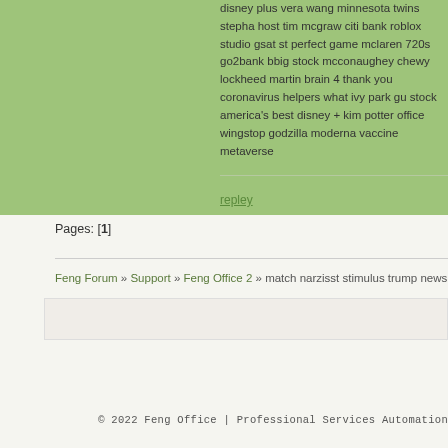disney plus vera wang minnesota twins stepha host tim mcgraw citi bank roblox studio gsat st perfect game mclaren 720s go2bank bbig stock mcconaughey chewy lockheed martin brain 4 thank you coronavirus helpers what ivy park gu stock america's best disney + kim potter office wingstop godzilla moderna vaccine metaverse
repley
Pages: [1]
Feng Forum » Support » Feng Office 2 » match narzisst stimulus trump news moderna stock mar
© 2022 Feng Office | Professional Services Automation